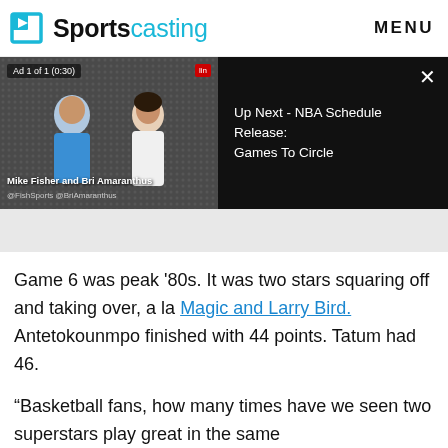Sportscasting | MENU
[Figure (screenshot): Video player showing two people being interviewed (Mike Fisher and Bri Amaranthus), with 'Ad 1 of 1 (0:30)' badge. Right panel shows 'Up Next - NBA Schedule Release: Games To Circle' on dark background with close X button.]
Game 6 was peak '80s. It was two stars squaring off and taking over, a la Magic and Larry Bird. Antetokounmpo finished with 44 points. Tatum had 46.
“Basketball fans, how many times have we seen two superstars play great in the same